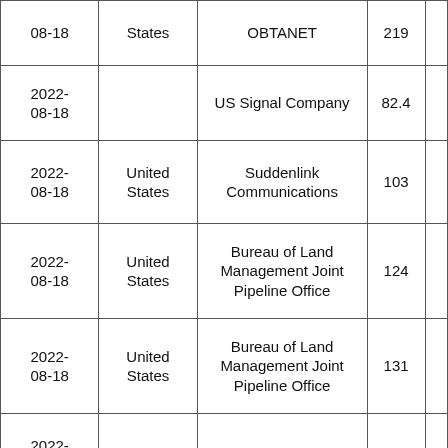| Date | Country | Organization | Value |  |
| --- | --- | --- | --- | --- |
| 2022-08-18 | States | OBTANET | 219 |  |
| 2022-08-18 |  | US Signal Company | 82.4 |  |
| 2022-08-18 | United States | Suddenlink Communications | 103 |  |
| 2022-08-18 | United States | Bureau of Land Management Joint Pipeline Office | 124 |  |
| 2022-08-18 | United States | Bureau of Land Management Joint Pipeline Office | 131 |  |
| 2022-08-18 | Kosovo | ARTMOTION SH.P.K. | 228 |  |
| 2022-08-18 |  | Amazon.com | 231 |  |